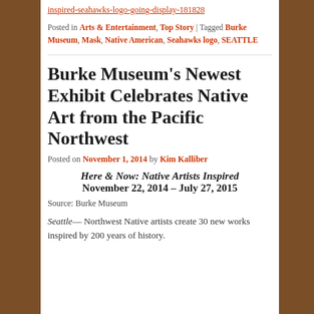inspired-seahawks-logo-going-display-181828
Posted in Arts & Entertainment, Top Story | Tagged Burke Museum, Mask, Native American, Seahawks logo, SEATTLE
Burke Museum's Newest Exhibit Celebrates Native Art from the Pacific Northwest
Posted on November 1, 2014 by Kim Kalliber
Here & Now: Native Artists Inspired
November 22, 2014 – July 27, 2015
Source: Burke Museum
Seattle— Northwest Native artists create 30 new works inspired by 200 years of history.